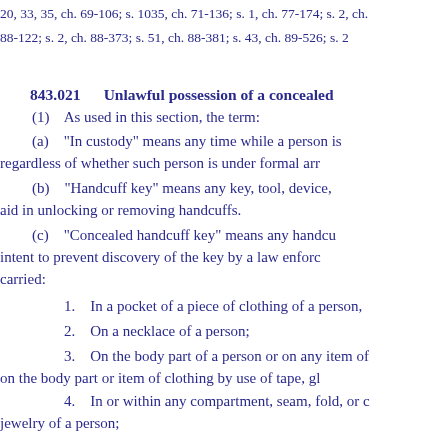20, 33, 35, ch. 69-106; s. 1035, ch. 71-136; s. 1, ch. 77-174; s. 2, ch. 88-122; s. 2, ch. 88-373; s. 51, ch. 88-381; s. 43, ch. 89-526; s. 2
843.021    Unlawful possession of a concealed
(1)    As used in this section, the term:
(a)    “In custody” means any time while a person is in custody, regardless of whether such person is under formal arr
(b)    “Handcuff key” means any key, tool, device, that may aid in unlocking or removing handcuffs.
(c)    “Concealed handcuff key” means any handcuff key carried with intent to prevent discovery of the key by a law enforcement officer, carried:
1.    In a pocket of a piece of clothing of a person,
2.    On a necklace of a person;
3.    On the body part of a person or on any item of clothing, affixed on the body part or item of clothing by use of tape, gl
4.    In or within any compartment, seam, fold, or other part of the jewelry of a person;
5.    In or within any sock, hose, shoe, belt, undergament, or other clothing of a person;
6.    By a person and disguised as jewelry or other
7.    In or within any body cavity of a person.
(2)    Any person who possesses a concealed handcuff key, which is a felony...